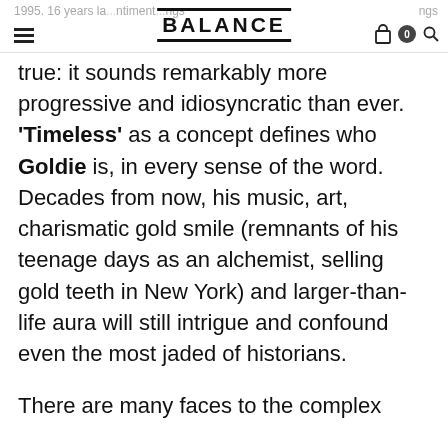BALANCE | 1995. 16 years la... ntiment rings | 0
true: it sounds remarkably more progressive and idiosyncratic than ever. 'Timeless' as a concept defines who Goldie is, in every sense of the word. Decades from now, his music, art, charismatic gold smile (remnants of his teenage days as an alchemist, selling gold teeth in New York) and larger-than-life aura will still intrigue and confound even the most jaded of historians.
There are many faces to the complex